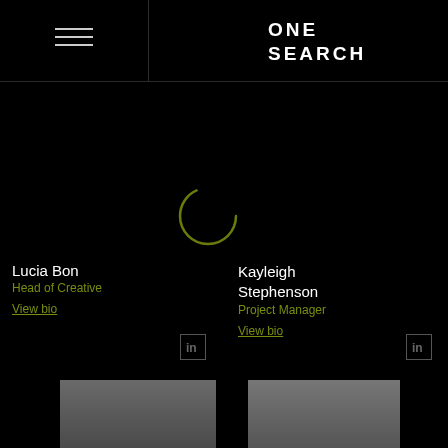[Figure (logo): ONE SEARCH logo in white bold text on black background, top right header area]
[Figure (illustration): Hamburger/menu icon — three horizontal white lines, top left header]
[Figure (illustration): Circular loading spinner outline in olive/dark yellow-green, centered in black area]
Lucia Bon
Head of Creative
View bio
Kayleigh Stephenson
Project Manager
View bio
[Figure (photo): Grayscale photo of a bald man, cropped at bottom of page, left column]
[Figure (photo): Grayscale photo of a woman with long dark hair, cropped at bottom of page, right column]